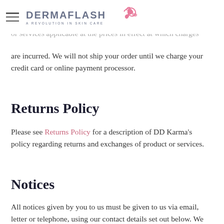DERMAFLASH — A REVOLUTION IN SKIN CARE
are incurred. We will not ship your order until we charge your credit card or online payment processor.
Returns Policy
Please see Returns Policy for a description of DD Karma's policy regarding returns and exchanges of product or services.
Notices
All notices given by you to us must be given to us via email, letter or telephone, using our contact details set out below. We may give notice to you at either the email or postal address you provide to us when placing an order. Notices by DD Karma will be deemed received and properly